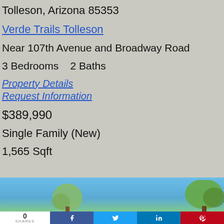Tolleson, Arizona 85353
Verde Trails Tolleson
Near 107th Avenue and Broadway Road
3 Bedrooms   2 Baths
Property Details
Request Information
$389,990
Single Family (New)
1,565 Sqft
[Figure (photo): Outdoor photo strip showing blue sky and trees]
0
SHARES